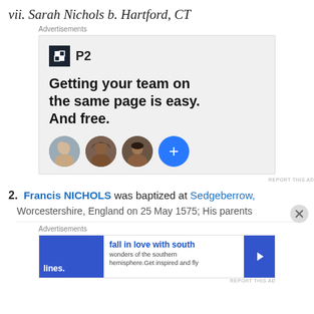vii. Sarah Nichols b. Hartford, CT
[Figure (other): Advertisement banner for P2 — shows logo, headline 'Getting your team on the same page is easy. And free.' with three avatar photos and a blue plus button.]
2.  Francis NICHOLS was baptized at Sedgeberrow,
Worcestershire, England on 25 May 1575; His parents
[Figure (other): Advertisement banner for 'fall in love with south lines' — shows blue image panel, headline, body text 'wonders of the southern hemisphere. Get inspired and fly', and blue arrow button.]